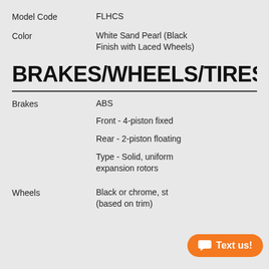Model Code	FLHCS
Color	White Sand Pearl (Black Finish with Laced Wheels)
BRAKES/WHEELS/TIRES
Brakes	ABS
Front - 4-piston fixed
Rear - 2-piston floating
Type - Solid, uniform expansion rotors
Wheels	Black or chrome, st... (based on trim)